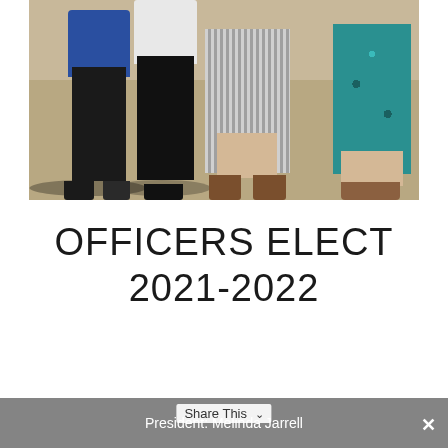[Figure (photo): Photo showing four people from waist down, standing outdoors. From left to right: person in blue top and black pants with sandals, person in white top and black pants with black heels, person in striped dress with brown sandals, person in teal/blue floral outfit with sandals. Standing on a concrete surface in sunlight.]
OFFICERS ELECT 2021-2022
President: Melinda Jarrell